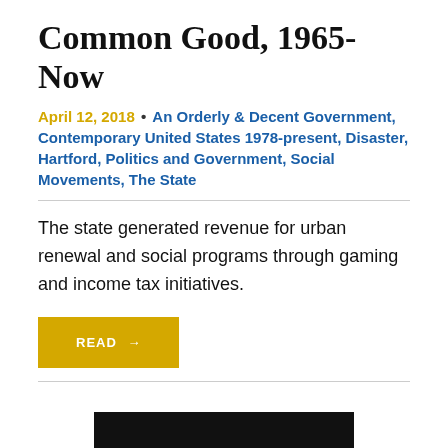Common Good, 1965-Now
April 12, 2018 • An Orderly & Decent Government, Contemporary United States 1978-present, Disaster, Hartford, Politics and Government, Social Movements, The State
The state generated revenue for urban renewal and social programs through gaming and income tax initiatives.
READ →